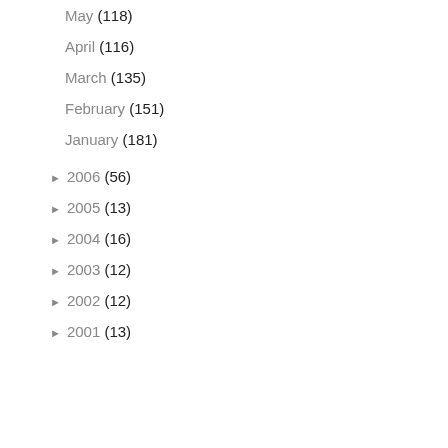May (118)
April (116)
March (135)
February (151)
January (181)
► 2006 (56)
► 2005 (13)
► 2004 (16)
► 2003 (12)
► 2002 (12)
► 2001 (13)